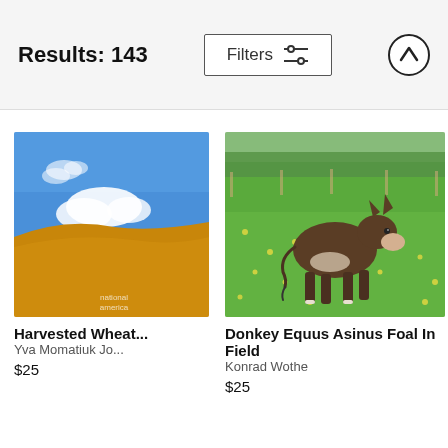Results: 143 | Filters | (up arrow button)
[Figure (photo): Harvested wheat field with golden hill under blue sky with white clouds. Watermark: National Geographic.]
Harvested Wheat...
Yva Momatiuk Jo...
$25
[Figure (photo): Young donkey (Equus Asinus foal) walking in a green field filled with yellow wildflowers, trees in background.]
Donkey Equus Asinus Foal In Field
Konrad Wothe
$25